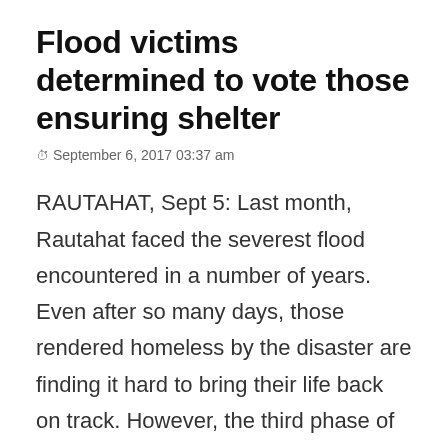Flood victims determined to vote those ensuring shelter
September 6, 2017 03:37 am
RAUTAHAT, Sept 5: Last month, Rautahat faced the severest flood encountered in a number of years. Even after so many days, those rendered homeless by the disaster are finding it hard to bring their life back on track. However, the third phase of local elections scheduled for September 18 has offered them some rays of hope.